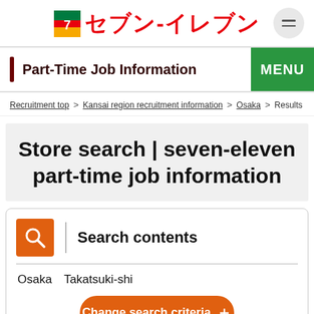セブン‐イレブン
Part-Time Job Information | MENU
Recruitment top > Kansai region recruitment information > Osaka > Results
Store search | seven-eleven part-time job information
Search contents
Osaka　Takatsuki-shi
Change search criteria +